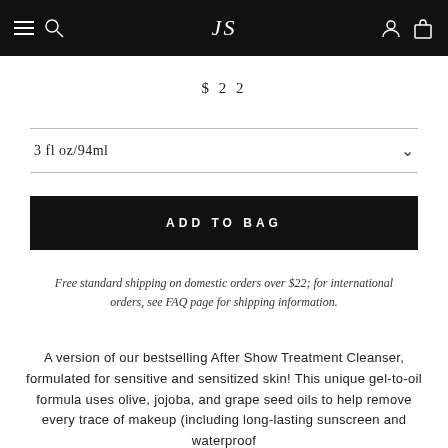JS
$22
3 fl oz/94ml
ADD TO BAG
Free standard shipping on domestic orders over $22; for international orders, see FAQ page for shipping information.
A version of our bestselling After Show Treatment Cleanser, formulated for sensitive and sensitized skin! This unique gel-to-oil formula uses olive, jojoba, and grape seed oils to help remove every trace of makeup (including long-lasting sunscreen and waterproof